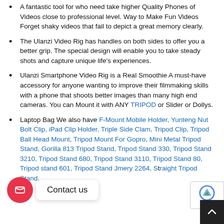A fantastic tool for who need take higher Quality Phones of Videos close to professional level. Way to Make Fun Videos Forget shaky videos that fail to depict a great memory clearly.
The Ulanzi Video Rig has handles on both sides to offer you a better grip. The special design will enable you to take steady shots and capture unique life's experiences.
Ulanzi Smartphone Video Rig is a Real Smoothie A must-have accessory for anyone wanting to improve their filmmaking skills with a phone that shoots better images than many high end cameras. You can Mount it with ANY TRIPOD or Slider or Dollys.
Laptop Bag We also have F-Mount Mobile Holder, Yunteng Nut Bolt Clip, iPad Clip Holder, Triple Side Clam, Tripod Clip, Tripod Ball Head Mount, Tripod Mount For Gopro, Mini Metal Tripod Stand, Gorilla 813 Tripod Stand, Tripod Stand 330, Tripod Stand 3210, Tripod Stand 680, Tripod Stand 3110, Tripod Stand 80, Tripod stand 601, Tripod Stand Jmery 2264, Straight Tripod Stand.